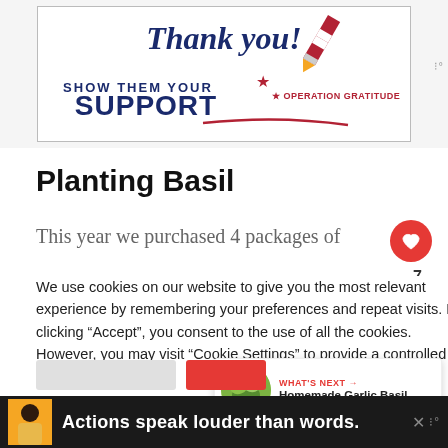[Figure (illustration): Advertisement banner: 'Thank you! SHOW THEM YOUR SUPPORT — OPERATION GRATITUDE' with decorative pencil graphic in red/white/blue American flag colors]
Planting Basil
This year we purchased 4 packages of
We use cookies on our website to give you the most relevant experience by remembering your preferences and repeat visits. By clicking “Accept”, you consent to the use of all the cookies. However, you may visit "Cookie Settings" to provide a controlled consent.
[Figure (photo): Thumbnail image of basil leaves for 'What's Next: Homemade Garlic Basil...' panel]
[Figure (illustration): Bottom advertisement banner with dark background: 'Actions speak louder than words.' with a person illustration]